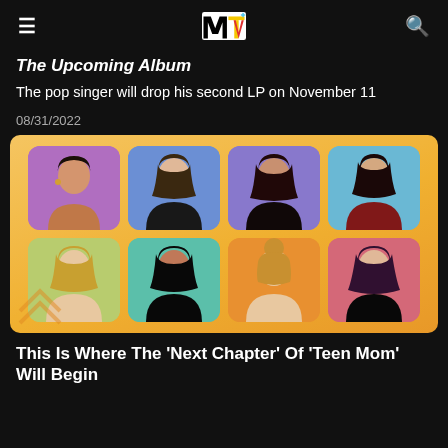MTV
The Upcoming Album
The pop singer will drop his second LP on November 11
08/31/2022
[Figure (photo): MTV Teen Mom cast promotional image showing 8 women in colorful portrait cards on an orange gradient background, arranged in 2 rows of 4]
This Is Where The 'Next Chapter' Of 'Teen Mom' Will Begin